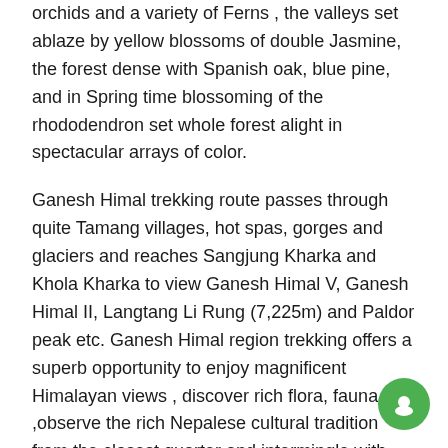orchids and a variety of Ferns , the valleys set ablaze by yellow blossoms of double Jasmine, the forest dense with Spanish oak, blue pine, and in Spring time blossoming of the rhododendron set whole forest alight in spectacular arrays of color.
Ganesh Himal trekking route passes through quite Tamang villages, hot spas, gorges and glaciers and reaches Sangjung Kharka and Khola Kharka to view Ganesh Himal V, Ganesh Himal II, Langtang Li Rung (7,225m) and Paldor peak etc. Ganesh Himal region trekking offers a superb opportunity to enjoy magnificent Himalayan views , discover rich flora, fauna ,observe the rich Nepalese cultural tradition from the closest quarter and intermingle with local people + interesting panoramic views destination points are called Singala pass, Dharka, Jasail Kunda, Jyamrung, Kasigaun, Khanchok and Gorkha offer you more than 35 mountains scenery over 6000m. Ganesh himal trekking is ideal for those wanting to escape from the more popular regions of Annapurna region, Everest region, Langtang region and famous for unspoiled Tamang culture, spectacular views of mountains and col rhododendron forest.